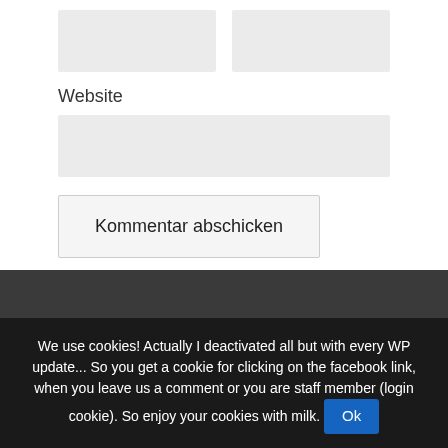[Figure (screenshot): Two gray input fields side by side (name and email fields)]
Website
[Figure (screenshot): Gray input field for website URL]
Kommentar abschicken
We use cookies! Actually I deactivated all but with every WP update... So you get a cookie for clicking on the facebook link, when you leave us a comment or you are staff member (login cookie). So enjoy your cookies with milk.